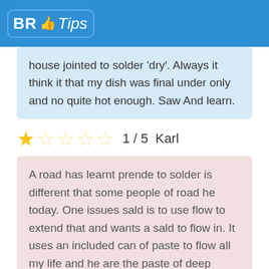BR Tips
house jointed to solder 'dry'. Always it think it that my dish was final under only and no quite hot enough. Saw And learn.
1 / 5   Karl
A road has learnt prende to solder is different that some people of road he today. One issues sald is to use flow to extend that and wants a sald to flow in. It uses an included can of paste to flow all my life and he are the paste of deep reddish black that sizzels and smoked of instant of the marks